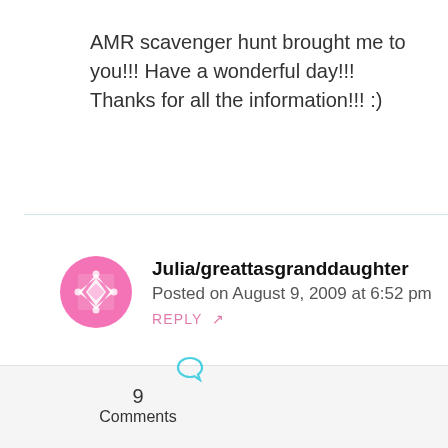AMR scavenger hunt brought me to you!!! Have a wonderful day!!! Thanks for all the information!!! :)
Julia/greattasgranddaughter
Posted on August 9, 2009 at 6:52 pm
REPLY ↗
They sure have some cute lines coming out. Will have to try to find
9 Comments